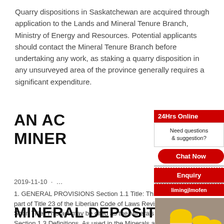Quarry dispositions in Saskatchewan are acquired through application to the Lands and Mineral Tenure Branch, Ministry of Energy and Resources. Potential applicants should contact the Mineral Tenure Branch before undertaking any work, as staking a quarry disposition in any unsurveyed area of the province generally requires a significant expenditure.
AN AC... MINER...
2019-11-10 · ... 1. GENERAL PROVISIONS Section 1.1 Title: This... part of Title 23 of the Liberian Code of Laws Revis... Short Title. This act may be cited as the Minerals ... Section 1.3 Definitions. As used in the Minerals a... following terms shall have the indicated ...
MINERAL DEPOSIT INVENTORY RECOR...
[Figure (infographic): Live chat advertisement popup with construction workers photo on left, customer service agent on right, red LIVE CHAT text in center, Chat now and Chat later buttons at bottom. Sidebar with 24Hrs Online, Need questions & suggestion?, Chat Now button, Enquiry, and limingjlmofen links.]